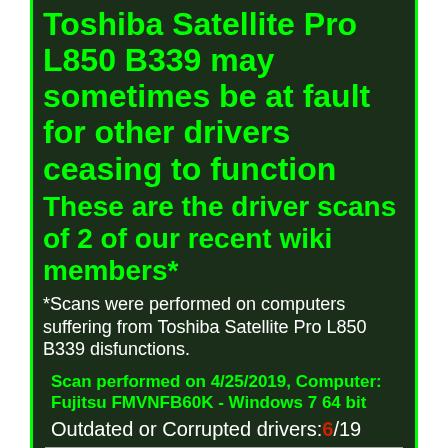Toshiba Satellite Pro L850 B339 may sometimes be at fault for other drivers ceasing to function
These are the driver scans of 2 of our recent wiki members*
*Scans were performed on computers suffering from Toshiba Satellite Pro L850 B339 disfunctions.
Scan performed on 4/25/2019, Computer: Fujitsu FMVNFB60K - Windows 7 64 bit
Outdated or Corrupted drivers: 6/19
| Device/Driver | Status |
| --- | --- |